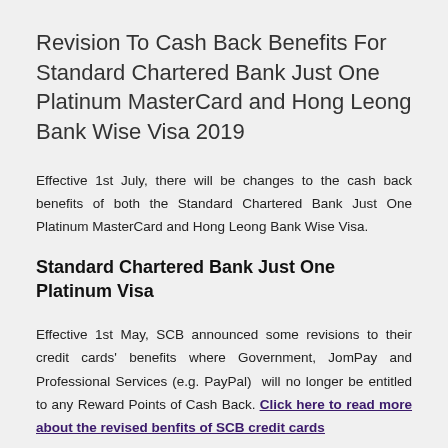Revision To Cash Back Benefits For Standard Chartered Bank Just One Platinum MasterCard and Hong Leong Bank Wise Visa 2019
Effective 1st July, there will be changes to the cash back benefits of both the Standard Chartered Bank Just One Platinum MasterCard and Hong Leong Bank Wise Visa.
Standard Chartered Bank Just One Platinum Visa
Effective 1st May, SCB announced some revisions to their credit cards' benefits where Government, JomPay and Professional Services (e.g. PayPal) will no longer be entitled to any Reward Points of Cash Back. Click here to read more about the revised benfits of SCB credit cards